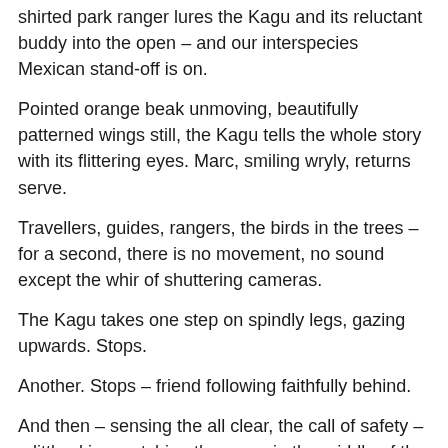shirted park ranger lures the Kagu and its reluctant buddy into the open – and our interspecies Mexican stand-off is on.
Pointed orange beak unmoving, beautifully patterned wings still, the Kagu tells the whole story with its flittering eyes. Marc, smiling wryly, returns serve.
Travellers, guides, rangers, the birds in the trees – for a second, there is no movement, no sound except the whir of shuttering cameras.
The Kagu takes one step on spindly legs, gazing upwards. Stops.
Another. Stops – friend following faithfully behind.
And then – sensing the all clear, the call of safety – a little skip, snatching the worm in the middle of the track and slurping it down.
The Mexican stand-off, is over.